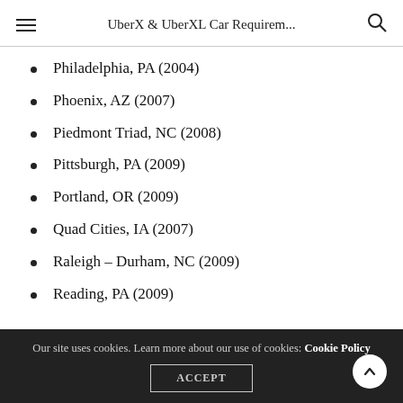UberX & UberXL Car Requirem...
Philadelphia, PA (2004)
Phoenix, AZ (2007)
Piedmont Triad, NC (2008)
Pittsburgh, PA (2009)
Portland, OR (2009)
Quad Cities, IA (2007)
Raleigh – Durham, NC (2009)
Reading, PA (2009)
Our site uses cookies. Learn more about our use of cookies: Cookie Policy  ACCEPT